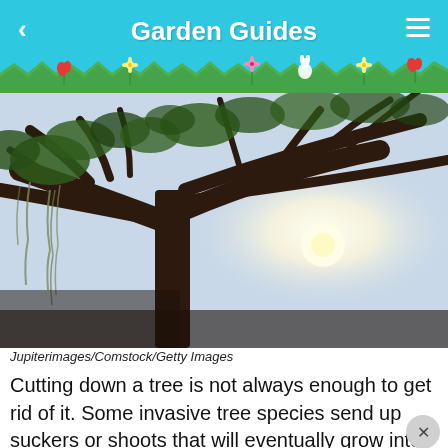Garden Guides
[Figure (photo): Looking up at a large oak tree with sprawling branches, Spanish moss, and sunlight breaking through the canopy against a bright sky.]
Jupiterimages/Comstock/Getty Images
Cutting down a tree is not always enough to get rid of it. Some invasive tree species send up suckers or shoots that will eventually grow into adult trees. The tree's roots are responsible for sending up clone trees all over the yard. Some experts say that invasive